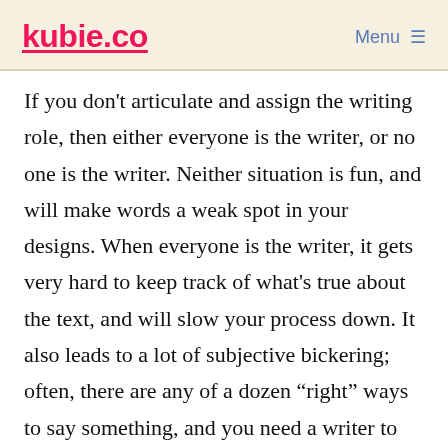kubie.co  Menu ≡
If you don't articulate and assign the writing role, then either everyone is the writer, or no one is the writer. Neither situation is fun, and will make words a weak spot in your designs. When everyone is the writer, it gets very hard to keep track of what's true about the text, and will slow your process down. It also leads to a lot of subjective bickering; often, there are any of a dozen “right” ways to say something, and you need a writer to just make the call. When no one is the writer,